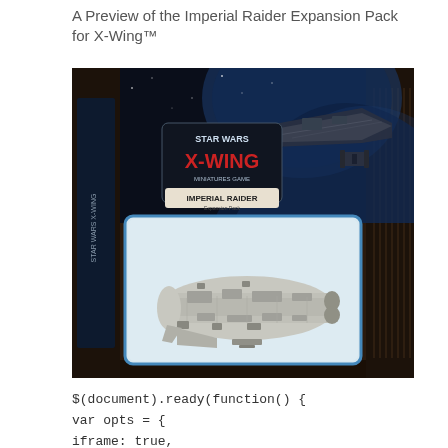A Preview of the Imperial Raider Expansion Pack for X-Wing™
[Figure (photo): Product box photo of the Star Wars X-Wing Miniatures Game Imperial Raider Expansion Pack, showing the box art with a large Star Destroyer in space and a detailed miniature model of the Imperial Raider ship inside the box window.]
$(document).ready(function() {
var opts = {
iframe: true,